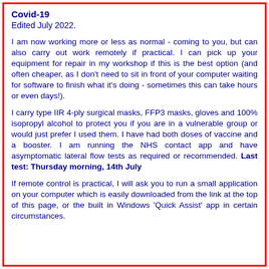Covid-19
Edited July 2022.
I am now working more or less as normal - coming to you, but can also carry out work remotely if practical. I can pick up your equipment for repair in my workshop if this is the best option (and often cheaper, as I don't need to sit in front of your computer waiting for software to finish what it's doing - sometimes this can take hours or even days!).
I carry type IIR 4-ply surgical masks, FFP3 masks, gloves and 100% isopropyl alcohol to protect you if you are in a vulnerable group or would just prefer I used them. I have had both doses of vaccine and a booster. I am running the NHS contact app and have asymptomatic lateral flow tests as required or recommended. Last test: Thursday morning, 14th July
If remote control is practical, I will ask you to run a small application on your computer which is easily downloaded from the link at the top of this page, or the built in Windows 'Quick Assist' app in certain circumstances.